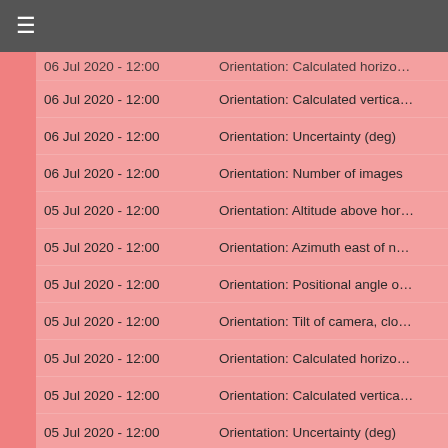≡
06 Jul 2020 - 12:00   Orientation: Calculated horizo…
06 Jul 2020 - 12:00   Orientation: Calculated vertica…
06 Jul 2020 - 12:00   Orientation: Uncertainty (deg)
06 Jul 2020 - 12:00   Orientation: Number of images
05 Jul 2020 - 12:00   Orientation: Altitude above hor…
05 Jul 2020 - 12:00   Orientation: Azimuth east of n…
05 Jul 2020 - 12:00   Orientation: Positional angle o…
05 Jul 2020 - 12:00   Orientation: Tilt of camera, clo…
05 Jul 2020 - 12:00   Orientation: Calculated horizo…
05 Jul 2020 - 12:00   Orientation: Calculated vertica…
05 Jul 2020 - 12:00   Orientation: Uncertainty (deg)
05 Jul 2020 - 12:00   Orientation: Number of images
02 Jul 2020 - 12:00   Orientation: Altitude above hor…